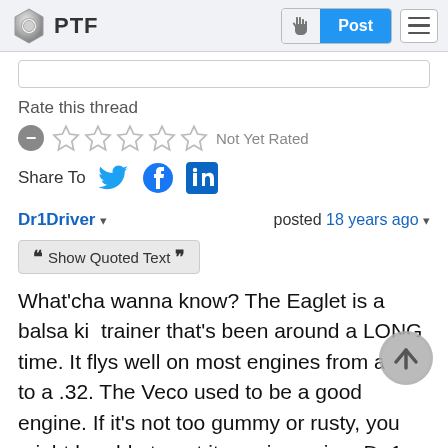[Figure (screenshot): PTF forum website navigation bar with logo (nut icon and PTF text), Post button with hand icon, and hamburger menu icon]
Rate this thread
[Figure (other): Star rating widget showing 5 empty stars with a minus/remove button on the left and 'Not Yet Rated' text on the right]
Share To (Twitter, Facebook, LinkedIn icons)
Dr1Driver ▾   posted 18 years ago ▾
❝ Show Quoted Text ❞
What'cha wanna know? The Eaglet is a balsa kit trainer that's been around a LONG time. It flys well on most engines from a .15 to a .32. The Veco used to be a good engine. If it's not too gummy or rusty, you might be able to get it running agian. Dr.1 Driver